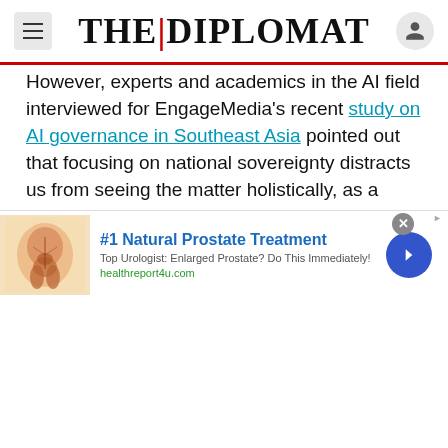THE DIPLOMAT
However, experts and academics in the AI field interviewed for EngageMedia's recent study on AI governance in Southeast Asia pointed out that focusing on national sovereignty distracts us from seeing the matter holistically, as a complex interplay of state and market forces working together and against each other.
ADVERTISEMENT
[Figure (other): Advertisement banner: #1 Natural Prostate Treatment. Top Urologist: Enlarged Prostate? Do This Immediately! healthreport4u.com. Shows anatomical illustration of prostate.]